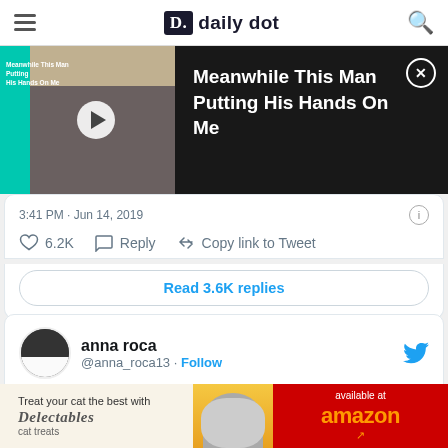daily dot
[Figure (screenshot): Video thumbnail with play button showing 'Meanwhile This Man Putting His Hands On Me' on teal background with dark panel title]
3:41 PM · Jun 14, 2019
6.2K   Reply   Copy link to Tweet
Read 3.6K replies
anna roca @anna_roca13 · Follow
Trump says Melania is the new Jackie O. I
[Figure (photo): Advertisement: Treat your cat the best with Delectables cat treats, available at Amazon]